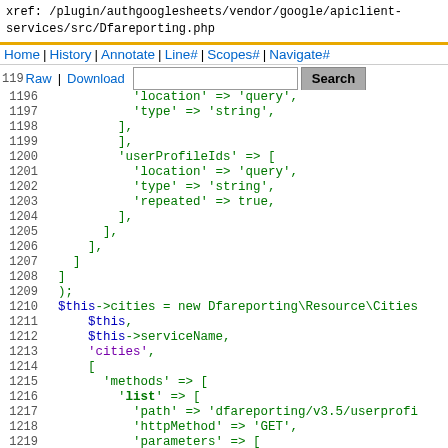xref: /plugin/authgooglesheets/vendor/google/apiclient-services/src/Dfareporting.php
Home | History | Annotate | Line# | Scopes# | Navigate#
119Raw | Download  [search box] Search
1197 current directory
code lines 1196-1220